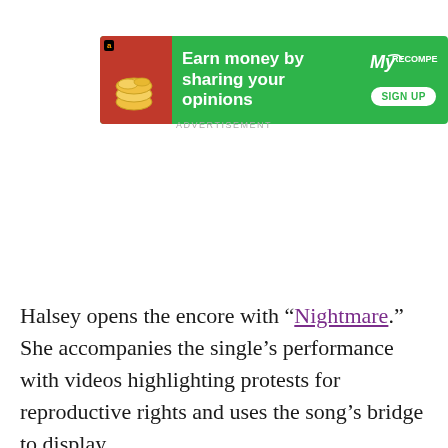[Figure (infographic): Green advertisement banner: 'Earn money by sharing your opinions' with Amazon logo, coins image, MyRecompensas branding, and SIGN UP button]
ADVERTISEMENT
Halsey opens the encore with "Nightmare." She accompanies the single's performance with videos highlighting protests for reproductive rights and uses the song's bridge to display statistics about abortion.